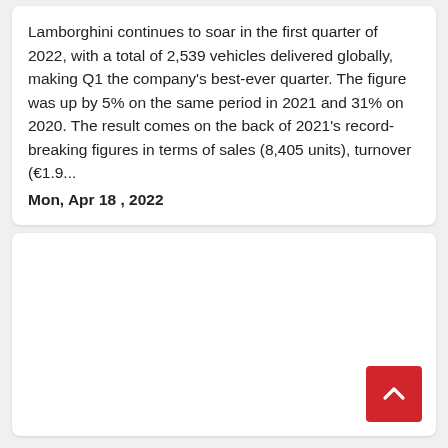Lamborghini continues to soar in the first quarter of 2022, with a total of 2,539 vehicles delivered globally, making Q1 the company's best-ever quarter. The figure was up by 5% on the same period in 2021 and 31% on 2020. The result comes on the back of 2021's record-breaking figures in terms of sales (8,405 units), turnover (€1.9...
Mon, Apr 18 , 2022
[Figure (other): Empty card area with a red back-to-top button (chevron/arrow up) in the bottom-right corner.]